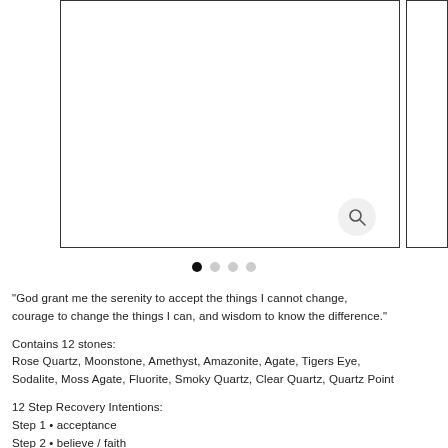[Figure (screenshot): Product image placeholder with border boxes and a search/zoom icon in the lower right area. A main bordered rectangle and a smaller bordered rectangle to the right. A circular search icon is visible in the bottom-right of the main box.]
• • • •
"God grant me the serenity to accept the things I cannot change, courage to change the things I can, and wisdom to know the difference."
Contains 12 stones:
Rose Quartz, Moonstone, Amethyst, Amazonite, Agate, Tigers Eye,
Sodalite, Moss Agate, Fluorite, Smoky Quartz, Clear Quartz, Quartz Point
12 Step Recovery Intentions:
Step 1 • acceptance
Step 2 • believe / faith